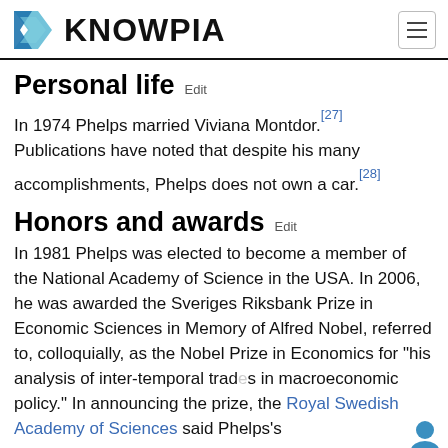KNOWPIA
Personal life  Edit
In 1974 Phelps married Viviana Montdor.[27] Publications have noted that despite his many accomplishments, Phelps does not own a car.[28]
Honors and awards  Edit
In 1981 Phelps was elected to become a member of the National Academy of Science in the USA. In 2006, he was awarded the Sveriges Riksbank Prize in Economic Sciences in Memory of Alfred Nobel, referred to, colloquially, as the Nobel Prize in Economics for "his analysis of inter-temporal trad... in macroeconomic policy." In announcing the prize, the Royal Swedish Academy of Sciences said Phelps's